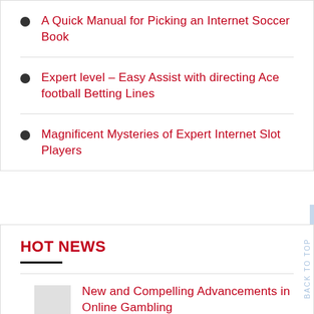A Quick Manual for Picking an Internet Soccer Book
Expert level – Easy Assist with directing Ace football Betting Lines
Magnificent Mysteries of Expert Internet Slot Players
HOT NEWS
New and Compelling Advancements in Online Gambling